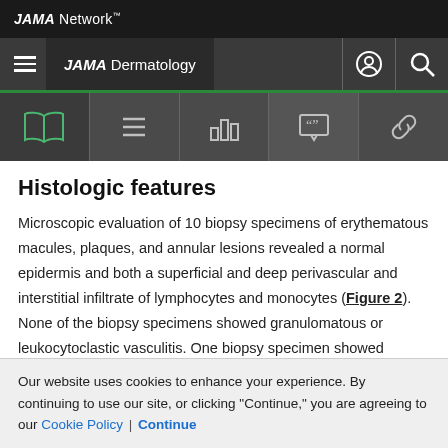JAMA Network
JAMA Dermatology
Histologic features
Microscopic evaluation of 10 biopsy specimens of erythematous macules, plaques, and annular lesions revealed a normal epidermis and both a superficial and deep perivascular and interstitial infiltrate of lymphocytes and monocytes (Figure 2). None of the biopsy specimens showed granulomatous or leukocytoclastic vasculitis. One biopsy specimen showed scattered
Our website uses cookies to enhance your experience. By continuing to use our site, or clicking "Continue," you are agreeing to our Cookie Policy | Continue